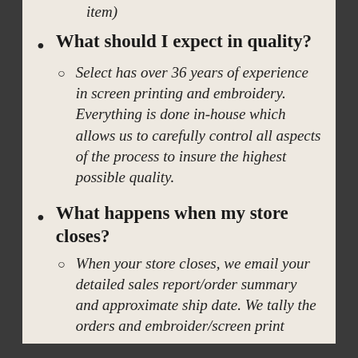item)
What should I expect in quality?
Select has over 36 years of experience in screen printing and embroidery.  Everything is done in-house which allows us to carefully control all aspects of the process to insure the highest possible quality.
What happens when my store closes?
When your store closes, we email your detailed sales report/order summary and approximate ship date.  We tally the orders and embroider/screen print